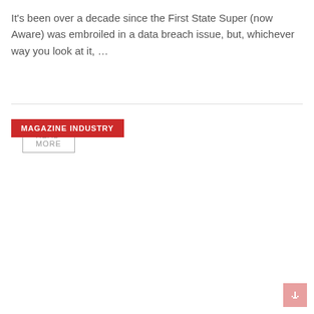It's been over a decade since the First State Super (now Aware) was embroiled in a data breach issue, but, whichever way you look at it, ...
READ MORE
MAGAZINE INDUSTRY